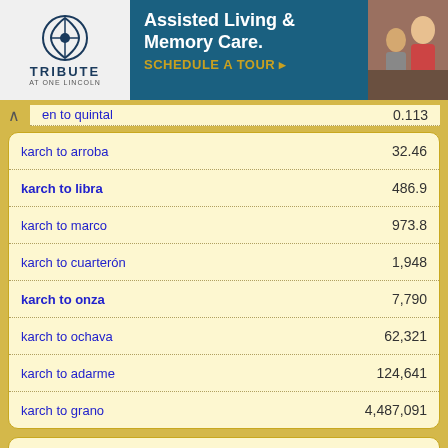[Figure (other): Advertisement banner for Tribute Assisted Living & Memory Care with Schedule A Tour CTA]
| Conversion | Value |
| --- | --- |
| en to quintal | 0.113 |
| karch to arroba | 32.46 |
| karch to libra | 486.9 |
| karch to marco | 973.8 |
| karch to cuarterón | 1,948 |
| karch to onza | 7,790 |
| karch to ochava | 62,321 |
| karch to adarme | 124,641 |
| karch to grano | 4,487,091 |
Old Portuguese
These units were used in Portugal, Brazil and other countries of the Portuguese Empire until the adoption of the metric system in 19th century.
| Conversion | Value |
| --- | --- |
| karch to tonelada | 0.2824 |
| karch to quintal | 3.813 |